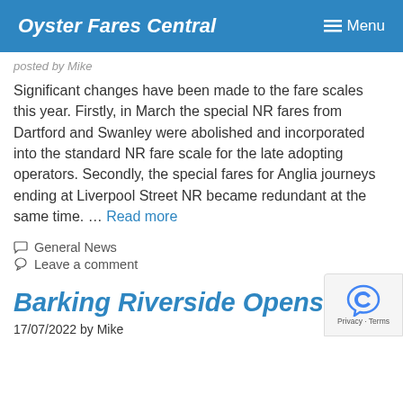Oyster Fares Central   Menu
...posted by Mike
Significant changes have been made to the fare scales this year. Firstly, in March the special NR fares from Dartford and Swanley were abolished and incorporated into the standard NR fare scale for the late adopting operators. Secondly, the special fares for Anglia journeys ending at Liverpool Street NR became redundant at the same time. … Read more
General News
Leave a comment
Barking Riverside Opens
17/07/2022 by Mike